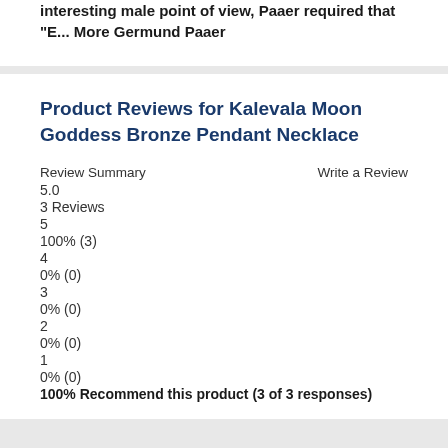interesting male point of view, Paaer required that "E... More Germund Paaer
Product Reviews for Kalevala Moon Goddess Bronze Pendant Necklace
Review Summary
5.0
3 Reviews
5
100% (3)
4
0% (0)
3
0% (0)
2
0% (0)
1
0% (0)
100% Recommend this product (3 of 3 responses)
Write a Review